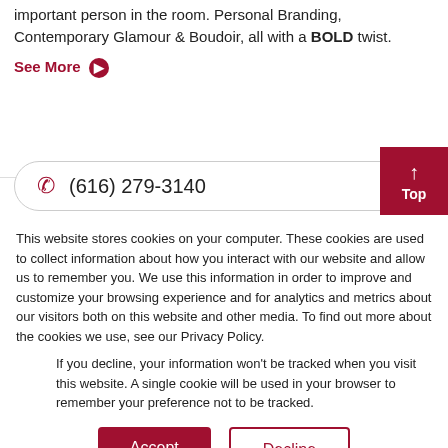important person in the room. Personal Branding, Contemporary Glamour & Boudoir, all with a BOLD twist.
See More →
(616) 279-3140
↑ Top
This website stores cookies on your computer. These cookies are used to collect information about how you interact with our website and allow us to remember you. We use this information in order to improve and customize your browsing experience and for analytics and metrics about our visitors both on this website and other media. To find out more about the cookies we use, see our Privacy Policy.
If you decline, your information won't be tracked when you visit this website. A single cookie will be used in your browser to remember your preference not to be tracked.
Accept
Decline